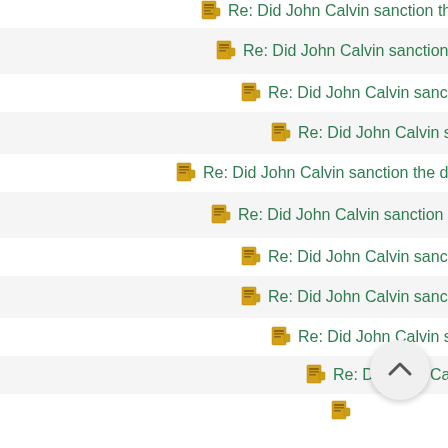Re: Did John Calvin sanction the death of Servetus?
Re: Did John Calvin sanction the death of Servetus?
Re: Did John Calvin sanction the death of Servetus?
Re: Did John Calvin sanction the death of Servetus?
Re: Did John Calvin sanction the death of Servetus?
Re: Did John Calvin sanction the death of Servetus?
Re: Did John Calvin sanction the death of Servetus?
Re: Did John Calvin sanction the death of Servetus?
Re: Did John Calvin sanction the death of Servetus?
Re: Did John Calvin sanction the death of Servetus?
Re: Did John Calvin sanction the death of Servetus?